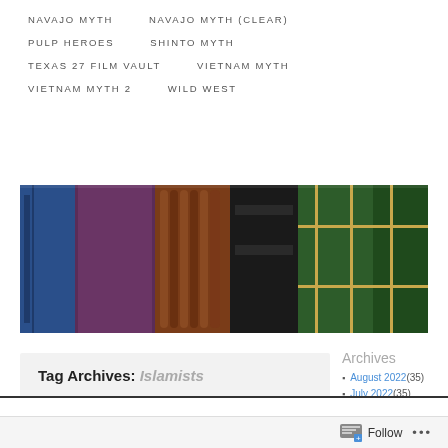NAVAJO MYTH
NAVAJO MYTH (CLEAR)
PULP HEROES
SHINTO MYTH
TEXAS 27 FILM VAULT
VIETNAM MYTH
VIETNAM MYTH 2
WILD WEST
[Figure (photo): A row of old books with colorful spines in blue, purple, brown, black, and green, photographed from the front.]
Tag Archives: Islamists
Archives
August 2022 (35)
July 2022 (35)